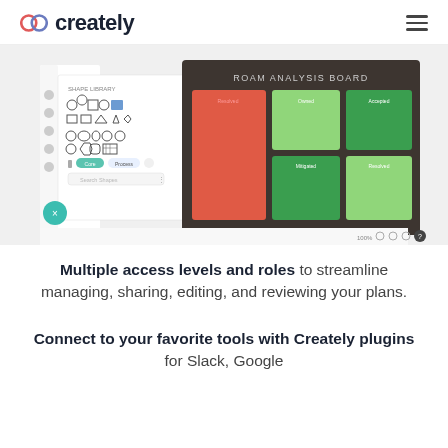creately
[Figure (screenshot): Creately app screenshot showing a shape panel on the left with various diagram shapes, and a ROAM Analysis Board on the right with a 2x3 grid of colored tiles (red and green sections). The interface also shows toolbar icons, zoom controls at 100%, and a teal close button.]
Multiple access levels and roles to streamline managing, sharing, editing, and reviewing your plans.
Connect to your favorite tools with Creately plugins for Slack, Google